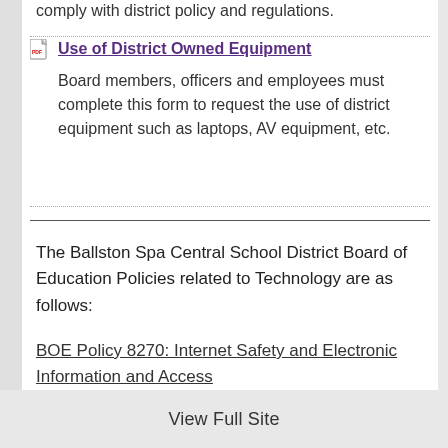comply with district policy and regulations.
Use of District Owned Equipment — Board members, officers and employees must complete this form to request the use of district equipment such as laptops, AV equipment, etc.
The Ballston Spa Central School District Board of Education Policies related to Technology are as follows:
BOE Policy 8270: Internet Safety and Electronic Information and Access
View Full Site